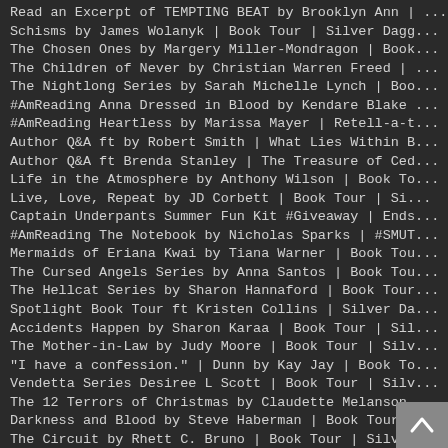Read an Excerpt of TEMPTING BEAT by Brooklyn Ann | ...
Schisms by James Wolanyk | Book Tour | Silver Dagg...
The Chosen Ones by Margery Miller-Mondragon | Book...
The Children of Never by Christian Warren Freed | ...
The Nightlong Series by Sarah Michelle Lynch | Boo...
#AmReading Anna Dressed in Blood by Kendare Blake ...
#AmReading Heartless by Marissa Mayer | Retell-a-t...
Author Q&A ft by Robert Smith | What Lies Within B...
Author Q&A ft Brenda Stanley | The Treasure of Ced...
Life in the Atmosphere by Anthony Wilson | Book To...
Live, Love, Repeat by JD Corbett | Book Tour | Si...
Captain Underpants Summer Fun Kit #Giveaway | Ends...
#AmReading The Notebook by Nicholas Sparks | #SMUT...
Mermaids of Eriana Kwai by Tiana Warner | Book Tou...
The Cursed Angels Series by Anna Santos | Book Tou...
The Hellcat Series by Sharon Hannaford | Book Tour...
Spotlight Book Tour ft Kristen Collins | Silver Da...
Accidents Happen by Sharon Karaa | Book Tour | Sil...
The Mother-in-Law by Judy Moore | Book Tour | Silv...
"I have a confession." | Dunn by Kay Jay | Book To...
Vendetta Series Desiree L Scott | Book Tour | Silv...
The 12 Terrors of Christmas by Claudette Melanson ...
Darkness and Blood by Steve Haberman | Book Tour |...
The Circuit by Rhett C. Bruno | Book Tour | Silver...
Author Q&A ft by L.M. Schukraft | The Locked Out B...
Biker by Mike Baron | Book Tour | Silver Dagger Bo...
The Big Bang by Roy M. Griffis | Book Tour | Silve...
The Lazarus Continuum by Ken Fry | Book Tour | Sil